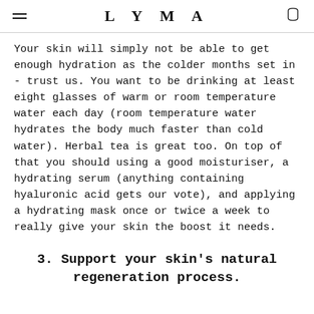LYMA
Your skin will simply not be able to get enough hydration as the colder months set in - trust us. You want to be drinking at least eight glasses of warm or room temperature water each day (room temperature water hydrates the body much faster than cold water). Herbal tea is great too. On top of that you should using a good moisturiser, a hydrating serum (anything containing hyaluronic acid gets our vote), and applying a hydrating mask once or twice a week to really give your skin the boost it needs.
3. Support your skin's natural regeneration process.